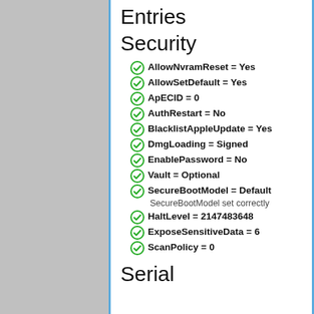Entries
Security
AllowNvramReset = Yes
AllowSetDefault = Yes
ApECID = 0
AuthRestart = No
BlacklistAppleUpdate = Yes
DmgLoading = Signed
EnablePassword = No
Vault = Optional
SecureBootModel = Default
SecureBootModel set correctly
HaltLevel = 2147483648
ExposeSensitiveData = 6
ScanPolicy = 0
Serial